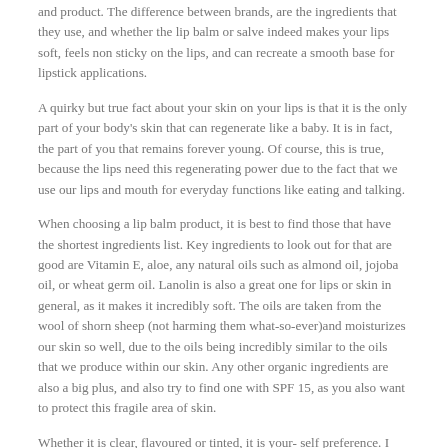and product. The difference between brands, are the ingredients that they use, and whether the lip balm or salve indeed makes your lips soft, feels non sticky on the lips, and can recreate a smooth base for lipstick applications.
A quirky but true fact about your skin on your lips is that it is the only part of your body's skin that can regenerate like a baby. It is in fact, the part of you that remains forever young. Of course, this is true, because the lips need this regenerating power due to the fact that we use our lips and mouth for everyday functions like eating and talking.
When choosing a lip balm product, it is best to find those that have the shortest ingredients list. Key ingredients to look out for that are good are Vitamin E, aloe, any natural oils such as almond oil, jojoba oil, or wheat germ oil. Lanolin is also a great one for lips or skin in general, as it makes it incredibly soft. The oils are taken from the wool of shorn sheep (not harming them what-so-ever)and moisturizes our skin so well, due to the oils being incredibly similar to the oils that we produce within our skin. Any other organic ingredients are also a big plus, and also try to find one with SPF 15, as you also want to protect this fragile area of skin.
Whether it is clear, flavoured or tinted, it is your- self preference. I personally like clear lip balms, and those that come in a tube rather than ones in a pot, so I find constantly sticking your finger in them a bit…